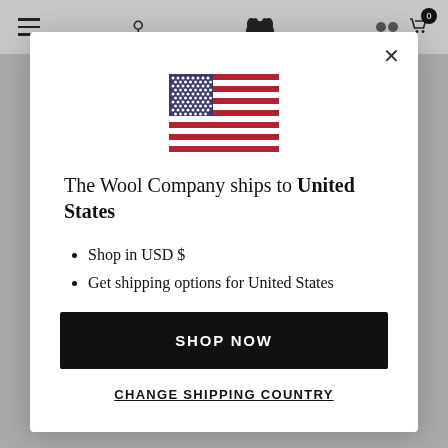The Wool Company navigation bar
[Figure (screenshot): US flag emoji/icon centered in modal]
The Wool Company ships to United States
Shop in USD $
Get shipping options for United States
SHOP NOW
CHANGE SHIPPING COUNTRY
usual